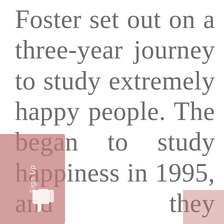Foster set out on a three-year journey to study extremely happy people. The began to study happiness in 1995, and they eventually traveled to all 50 states, 7 continents, and over 40 countries, finding and